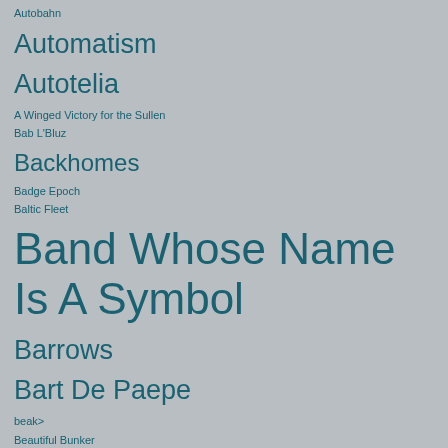Autobahn
Automatism
Autotelia
A Winged Victory for the Sullen
Bab L'Bluz
Backhomes
Badge Epoch
Baltic Fleet
Band Whose Name Is A Symbol
Barrows
Bart De Paepe
beak>
Beautiful Bunker
Bees Made Honey in the Vein Tree
Behind The Shadow Drops
Bell Orchestre
Bent Arcana
Bentley Rhythm Ace
Besnard Lakes
Bigfoot Coroners